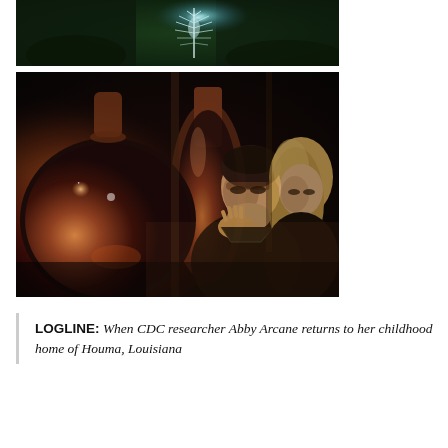[Figure (photo): Dark underwater or jungle scene with a pale glowing creature or plant against a dark green background]
[Figure (photo): Dark scene with large round glass laboratory flasks/beakers in foreground, a man leaning forward examining something, and a blonde woman visible on the right side]
LOGLINE: When CDC researcher Abby Arcane returns to her childhood home of Houma, Louisiana